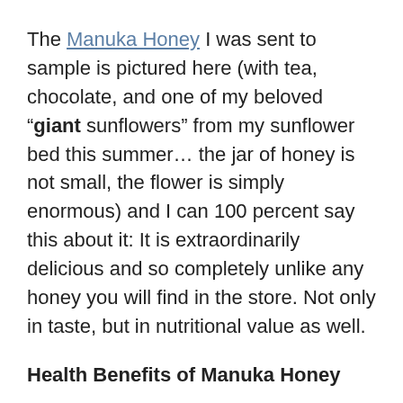The Manuka Honey I was sent to sample is pictured here (with tea, chocolate, and one of my beloved "giant sunflowers" from my sunflower bed this summer… the jar of honey is not small, the flower is simply enormous) and I can 100 percent say this about it: It is extraordinarily delicious and so completely unlike any honey you will find in the store. Not only in taste, but in nutritional value as well.
Health Benefits of Manuka Honey
Manuka honey has far superior antibacterial strength than other honeys. While honey is a healthy food, when it's Manuka honey, it's basically a superhero.